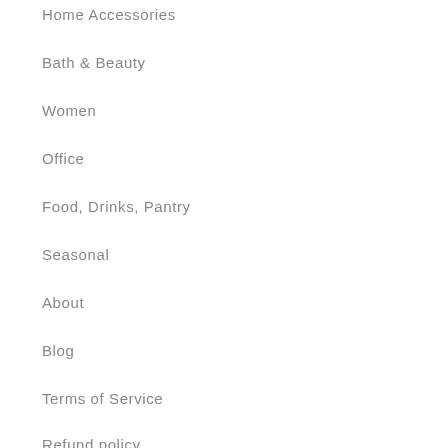Home Accessories
Bath & Beauty
Women
Office
Food, Drinks, Pantry
Seasonal
About
Blog
Terms of Service
Refund policy